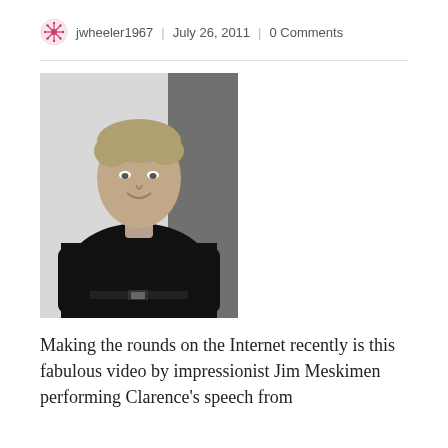jwheeler1967 | July 26, 2011 | 0 Comments
[Figure (photo): Black and white headshot of a man in a black long-sleeve shirt, smiling slightly, with light hair, posed against a light background with a dark panel behind him.]
Making the rounds on the Internet recently is this fabulous video by impressionist Jim Meskimen performing Clarence's speech from